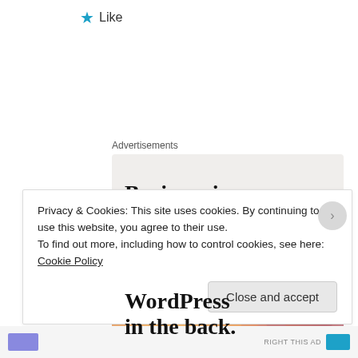★ Like
Advertisements
[Figure (illustration): WordPress advertisement: top section with light grey background reading 'Business in the front...' in bold serif font; bottom section with orange/peach gradient background and decorative circles reading 'WordPress in the back.' in bold serif font.]
Privacy & Cookies: This site uses cookies. By continuing to use this website, you agree to their use.
To find out more, including how to control cookies, see here: Cookie Policy
Close and accept